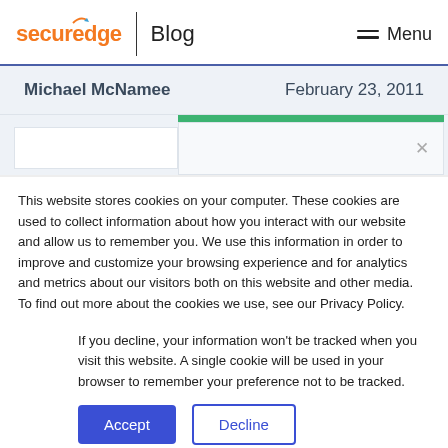securedge Blog Menu
Michael McNamee	February 23, 2011
[Figure (screenshot): Partial blog article page visible behind cookie consent modal overlay with a green progress bar and modal box with close X button]
This website stores cookies on your computer. These cookies are used to collect information about how you interact with our website and allow us to remember you. We use this information in order to improve and customize your browsing experience and for analytics and metrics about our visitors both on this website and other media. To find out more about the cookies we use, see our Privacy Policy.
If you decline, your information won't be tracked when you visit this website. A single cookie will be used in your browser to remember your preference not to be tracked.
Accept	Decline